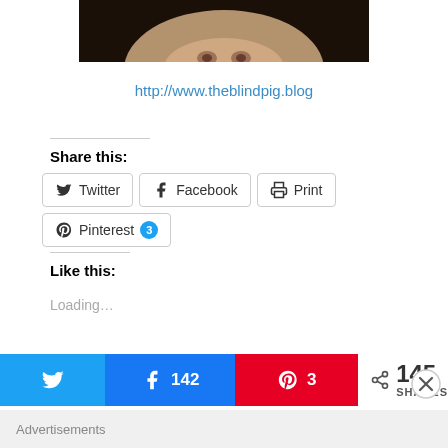[Figure (photo): Partial photo of an animal (pig) snout, cropped at the top of the page]
http://www.theblindpig.blog
Share this:
Twitter  Facebook  Print  Pinterest 3
Like this:
Loading...
142  3  145 SHARES
Advertisements